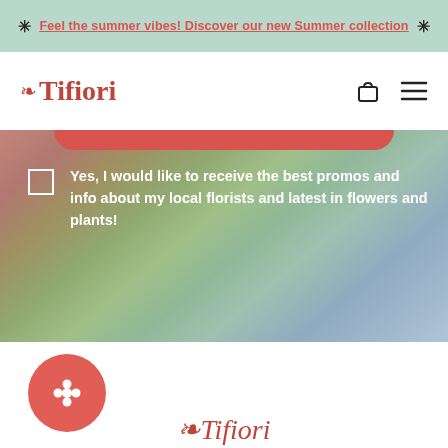Feel the summer vibes! Discover our new Summer collection
[Figure (logo): Tifiori logo with flower symbol in coral red, serif font]
Yes, I would like to receive the best promos and info about my local florists and latest in flowers and plants!
[Figure (logo): Tifiori circular logo button with flower icon in white on coral red background, with partial italic Tifiori text below]